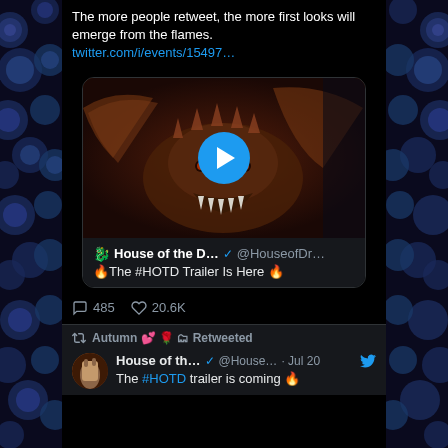The more people retweet, the more first looks will emerge from the flames. twitter.com/i/events/15497…
[Figure (screenshot): Twitter embedded video card showing a dragon from House of the Dragon. Account: House of the D… @HouseofDr… with a play button overlay. Card title: 🔥The #HOTD Trailer Is Here 🔥]
485 comments · 20.6K likes
Autumn 💕 🌹 🗂 Retweeted
House of th… ✓ @House… · Jul 20 — The #HOTD trailer is coming 🔥